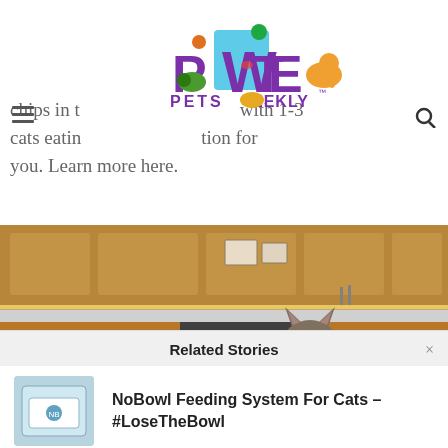[Figure (logo): PetsWeekly logo with colorful cartoon animals including a dog, turtle, cat, parrot and fish around purple lettering]
chips in t with 1-3 cats eatin tion for you. Learn more here.
[Figure (photo): A tabby cat sitting in a modern kitchen with wooden cabinets and dark lower cabinets, looking at the camera]
Related Stories
NoBowl Feeding System For Cats – #LoseTheBowl